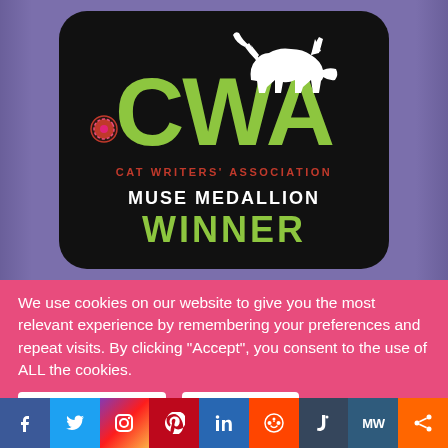[Figure (logo): Cat Writers' Association Muse Medallion Winner badge — black rounded rectangle on purple background with white cat silhouette, green CWA letters, yarn ball, red 'CAT WRITERS' ASSOCIATION' text, white 'MUSE MEDALLION' text, and green 'WINNER' text]
We use cookies on our website to give you the most relevant experience by remembering your preferences and repeat visits. By clicking “Accept”, you consent to the use of ALL the cookies.
Cookie settings
ACCEPT
[Figure (infographic): Social media icon bar: Facebook (blue), Twitter (light blue), Instagram (gradient), Pinterest (red), LinkedIn (blue), Reddit (orange-red), Tumblr (dark blue-grey), MW (dark teal), Share (orange)]